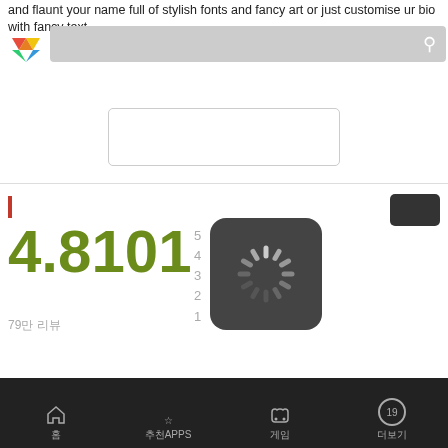and flaunt your name full of stylish fonts and fancy art or just customise ur bio with fancy text.
[Figure (screenshot): Google Play Store search bar with logo and text field]
[Figure (screenshot): Install button with Korean placeholder text]
평점
4.8101
5 4 3 2 1
79만 리뷰
[Figure (screenshot): Loading spinner icon on dark rounded square background]
개발자 정보
[Figure (screenshot): Pink install/action button with Korean text]
홈  추천APPS  게임  19+